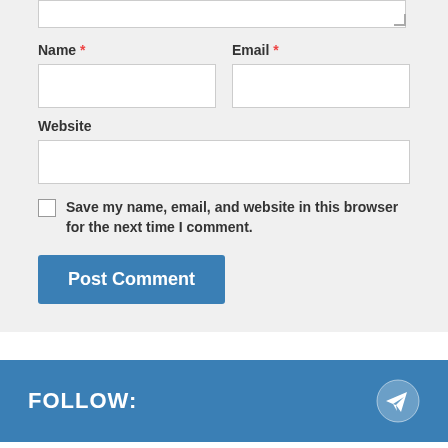Name *
Email *
Website
Save my name, email, and website in this browser for the next time I comment.
Post Comment
FOLLOW:
NEXT STORY
Colorize Images MOD APK (Premium/Unlocked) v4.0.0 Latest Download